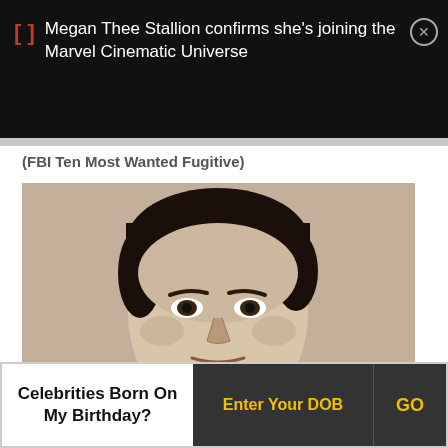Megan Thee Stallion confirms she's joining the Marvel Cinematic Universe
(FBI Ten Most Wanted Fugitive)
[Figure (photo): Black and white vintage yearbook-style portrait photograph of a young man with dark hair, looking directly at the camera.]
Celebrities Born On My Birthday?
Enter Your DOB
GO